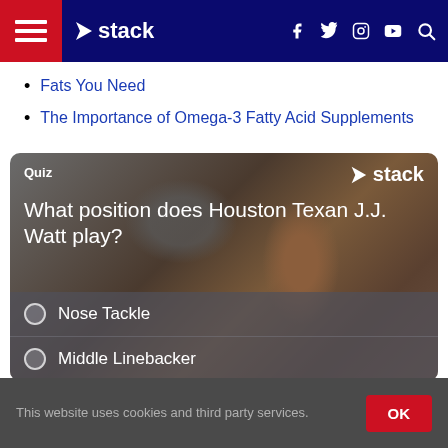stack — navigation bar with hamburger menu, logo, social icons (f, twitter, instagram, youtube), and search
Fats You Need
The Importance of Omega-3 Fatty Acid Supplements
[Figure (infographic): Quiz card with football background. Label 'Quiz' top left, Stack logo top right. Question: 'What position does Houston Texan J.J. Watt play?' with answer options 'Nose Tackle' and 'Middle Linebacker']
This website uses cookies and third party services. OK